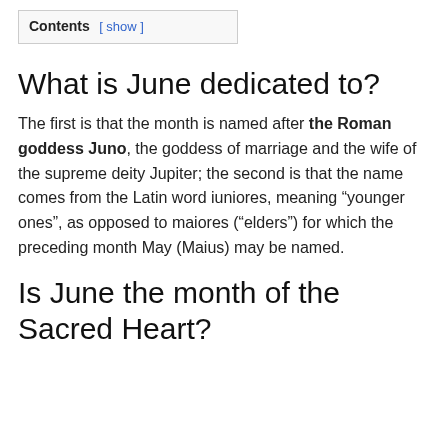Contents [ show ]
What is June dedicated to?
The first is that the month is named after the Roman goddess Juno, the goddess of marriage and the wife of the supreme deity Jupiter; the second is that the name comes from the Latin word iuniores, meaning “younger ones”, as opposed to maiores (“elders”) for which the preceding month May (Maius) may be named.
Is June the month of the Sacred Heart?